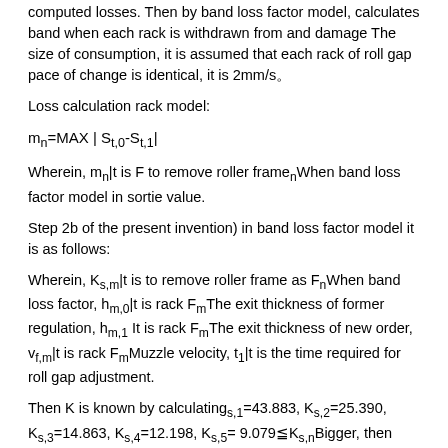computed losses. Then by band loss factor model, calculates band when each rack is withdrawn from and damage The size of consumption, it is assumed that each rack of roll gap pace of change is identical, it is 2mm/s。
Loss calculation rack model:
Wherein, m_n|t is F to remove roller frame_n When band loss factor model in sortie value.
Step 2b of the present invention) in band loss factor model it is as follows:
Wherein, K_{s,m}|t is to remove roller frame as F_n When band loss factor, h_{m,0}|t is rack F_m The exit thickness of former regulation, h_{m,1} It is rack F_m The exit thickness of new order, v_{f,m}|t is rack F_m Muzzle velocity, t_1|t is the time required for roll gap adjustment.
Then K is known by calculating_{s,1}=43.883, K_{s,2}=25.390, K_{s,3}=14.863, K_{s,4}=12.198, K_{s,5}= 9.079≦K_{s,n}Bigger, then